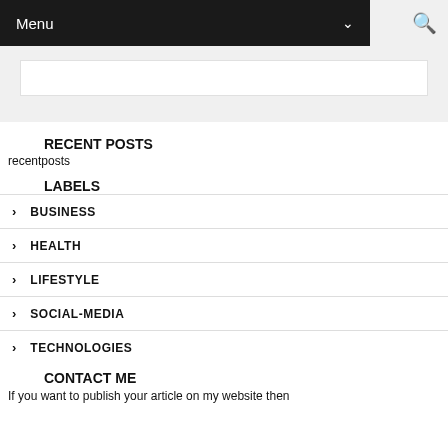Menu
RECENT POSTS
recentposts
LABELS
BUSINESS
HEALTH
LIFESTYLE
SOCIAL-MEDIA
TECHNOLOGIES
CONTACT ME
If you want to publish your article on my website then